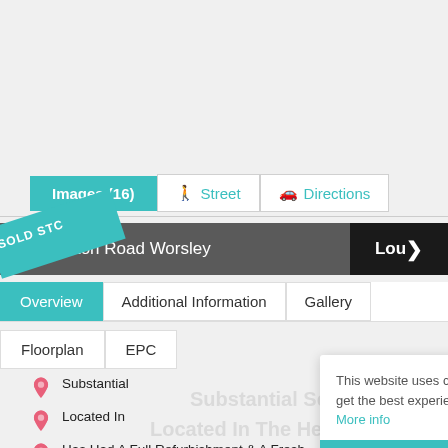[Figure (screenshot): Navigation bar with Images (16), Street, and Directions buttons]
[Figure (screenshot): Dark property bar showing 'Egerton Road Worsley' with Lounge nav and SOLD STC teal ribbon]
Overview | Additional Information | Gallery
Floorplan | EPC
Substantial Semi Detached On A Huge Plot
Located In The Heart Of Walkden
Has Had A Full Refurbishment & A Fresh, Neutral Look
This website uses cookies to ensure you get the best experience on our website. More info
Got it!